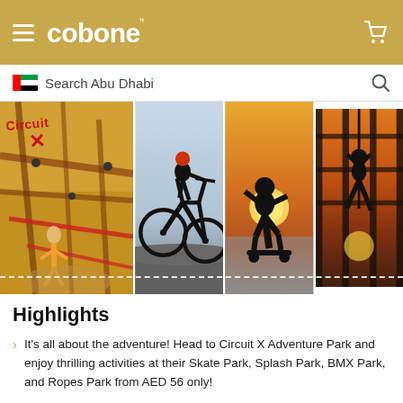cobone
Search Abu Dhabi
[Figure (photo): Four-panel image strip showing Circuit X Adventure Park activities: rope course with children, BMX bike silhouette, skateboarding silhouette at sunset, and aerial rope silhouette at sunset.]
Highlights
It's all about the adventure! Head to Circuit X Adventure Park and enjoy thrilling activities at their Skate Park, Splash Park, BMX Park, and Ropes Park from AED 56 only!